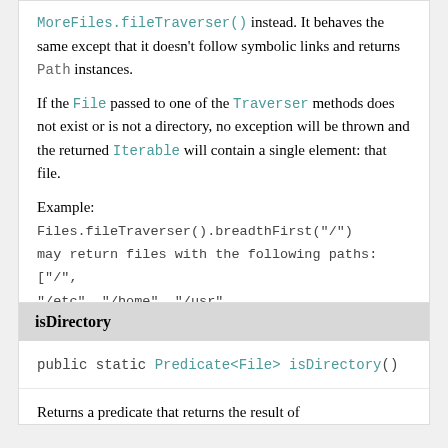MoreFiles.fileTraverser() instead. It behaves the same except that it doesn't follow symbolic links and returns Path instances.
If the File passed to one of the Traverser methods does not exist or is not a directory, no exception will be thrown and the returned Iterable will contain a single element: that file.
Example:
Files.fileTraverser().breadthFirst("/")
may return files with the following paths: ["/",
"/etc", "/home", "/usr",
"/etc/config.txt", "/etc/fonts", ...]
Since:
23.5
isDirectory
public static Predicate<File> isDirectory()
Returns a predicate that returns the result of